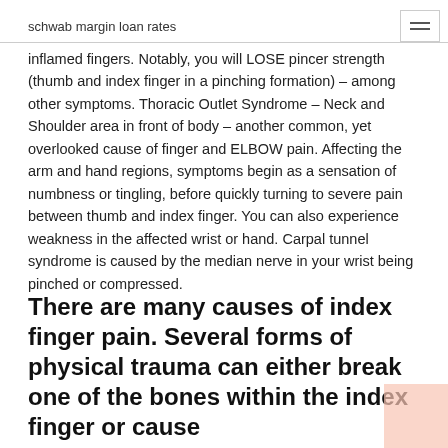schwab margin loan rates
inflamed fingers. Notably, you will LOSE pincer strength (thumb and index finger in a pinching formation) – among other symptoms. Thoracic Outlet Syndrome – Neck and Shoulder area in front of body – another common, yet overlooked cause of finger and ELBOW pain. Affecting the arm and hand regions, symptoms begin as a sensation of numbness or tingling, before quickly turning to severe pain between thumb and index finger. You can also experience weakness in the affected wrist or hand. Carpal tunnel syndrome is caused by the median nerve in your wrist being pinched or compressed.
There are many causes of index finger pain. Several forms of physical trauma can either break one of the bones within the index finger or cause